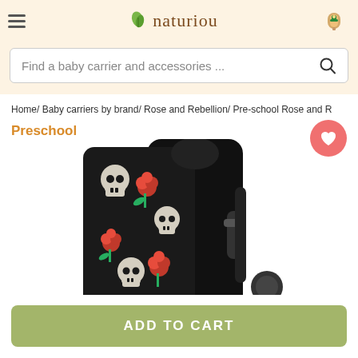naturiou — navigation header with hamburger menu and cactus icon
Find a baby carrier and accessories ...
Home/ Baby carriers by brand/ Rose and Rebellion/ Pre-school Rose and R
Preschool
[Figure (photo): Baby carrier with skulls and roses pattern on a dark background]
ADD TO CART